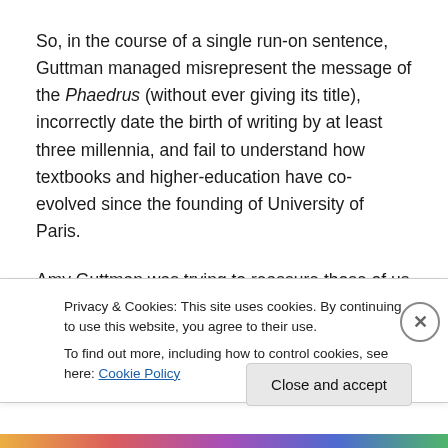So, in the course of a single run-on sentence, Guttman managed misrepresent the message of the Phaedrus (without ever giving its title), incorrectly date the birth of writing by at least three millennia, and fail to understand how textbooks and higher-education have co-evolved since the founding of University of Paris.
Amy Guttman was trying to reassure those of us who are concerned about MOOCs.  I am not assuaged, and in fact, even more anxious when I see Guttman's argument.
Privacy & Cookies: This site uses cookies. By continuing to use this website, you agree to their use.
To find out more, including how to control cookies, see here: Cookie Policy
Close and accept